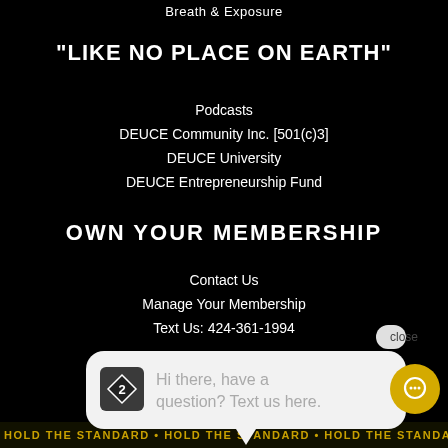Breath & Exposure
"LIKE NO PLACE ON EARTH"
Podcasts
DEUCE Community Inc. [501(c)3]
DEUCE University
DEUCE Entrepreneurship Fund
OWN YOUR MEMBERSHIP
Contact Us
Manage Your Membership
Text Us: 424-361-1994
[Figure (screenshot): Chat widget with close button and message bubble saying 'Hi there, have a question? Text us here.' with DEUCE diamond logo]
DEUCE Blog
DEUCE Pro Shop
HOLD THE STANDARD • HOLD THE STANDARD • HOLD THE STANDARD • HOLD THE STANDARD •